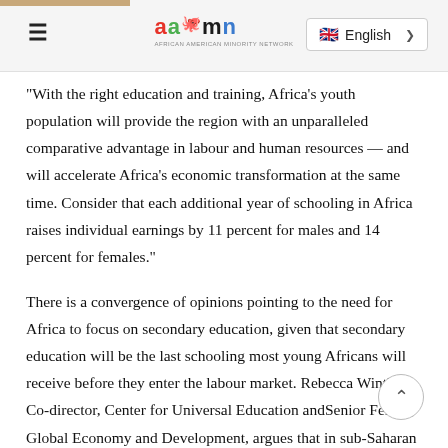aamn — English
"With the right education and training, Africa's youth population will provide the region with an unparalleled comparative advantage in labour and human resources — and will accelerate Africa's economic transformation at the same time. Consider that each additional year of schooling in Africa raises individual earnings by 11 percent for males and 14 percent for females."
There is a convergence of opinions pointing to the need for Africa to focus on secondary education, given that secondary education will be the last schooling most young Africans will receive before they enter the labour market. Rebecca Winthrop, Co-director, Center for Universal Education andSenior Fellow, Global Economy and Development, argues that in sub-Saharan Africa before the pandemic, of the 98 percent of children who enroll in primary school, only 9 percent make it to tertiary education and